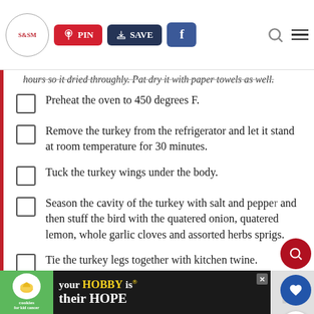S&SM | PIN | SAVE | Facebook | Search | Menu
hours so it dried throughly. Pat dry it with paper towels as well.
Preheat the oven to 450 degrees F.
Remove the turkey from the refrigerator and let it stand at room temperature for 30 minutes.
Tuck the turkey wings under the body.
Season the cavity of the turkey with salt and pepper and then stuff the bird with the quatered onion, quatered lemon, whole garlic cloves and assorted herbs sprigs.
Tie the turkey legs together with kitchen twine.
[Figure (screenshot): Advertisement banner: cookies for kid cancer, your HOBBY is their HOPE]